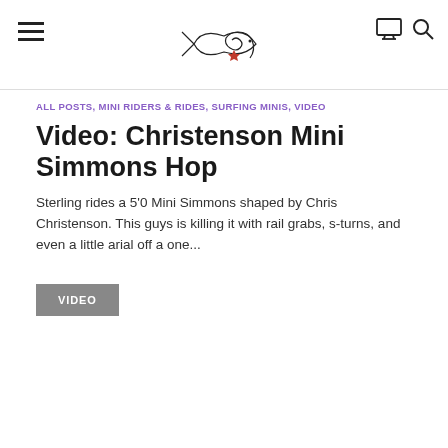Navigation header with hamburger menu, logo, monitor icon and search icon
ALL POSTS, MINI RIDERS & RIDES, SURFING MINIS, VIDEO
Video: Christenson Mini Simmons Hop
Sterling rides a 5'0 Mini Simmons shaped by Chris Christenson. This guys is killing it with rail grabs, s-turns, and even a little arial off a one...
VIDEO